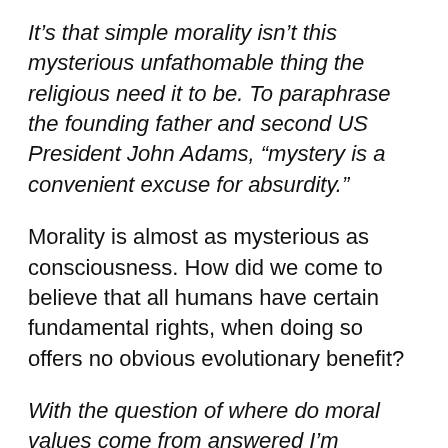It’s that simple morality isn’t this mysterious unfathomable thing the religious need it to be. To paraphrase the founding father and second US President John Adams, “mystery is a convenient excuse for absurdity.”
Morality is almost as mysterious as consciousness. How did we come to believe that all humans have certain fundamental rights, when doing so offers no obvious evolutionary benefit?
With the question of where do moral values come from answered I’m convinced that the best way to succinctly address the primary assertion is to first identify Western values and to then trace back when where and why they emerged. Let’s start with freedom of speech the very bedrock of a free society and the right that allows us to enact and defend all other rights. Is this Western value of